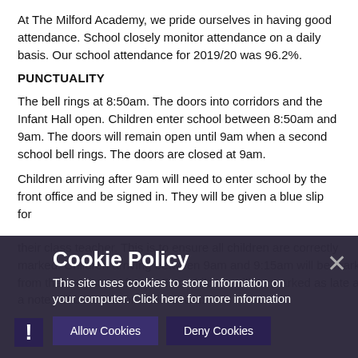At The Milford Academy, we pride ourselves in having good attendance. School closely monitor attendance on a daily basis. Our school attendance for 2019/20 was 96.2%.
PUNCTUALITY
The bell rings at 8:50am. The doors into corridors and the Infant Hall open. Children enter school between 8:50am and 9am. The doors will remain open until 9am when a second school bell rings. The doors are closed at 9am.
Children arriving after 9am will need to enter school by the front office and be signed in. They will be given a blue slip for their class teacher. This is to ensure all children are correctly marked. Children arriving between 9am and 9:15am will be marked from their register. After 9:15am children will be marked as late and a note will be made on their record.
[Figure (screenshot): Cookie Policy banner overlay with dark semi-transparent background. Title reads 'Cookie Policy'. Body text: 'This site uses cookies to store information on your computer. Click here for more information'. Buttons: 'Allow Cookies' and 'Deny Cookies'. Close X button top right. Exclamation mark icon bottom left.]